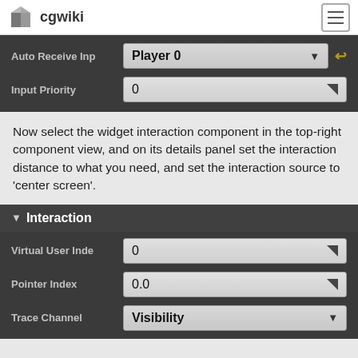cgwiki
[Figure (screenshot): Unreal Engine details panel showing Auto Receive Input set to Player 0 and Input Priority set to 0]
Now select the widget interaction component in the top-right component view, and on its details panel set the interaction distance to what you need, and set the interaction source to 'center screen'.
[Figure (screenshot): Unreal Engine Interaction section showing Virtual User Index 0, Pointer Index 0.0, Trace Channel Visibility]